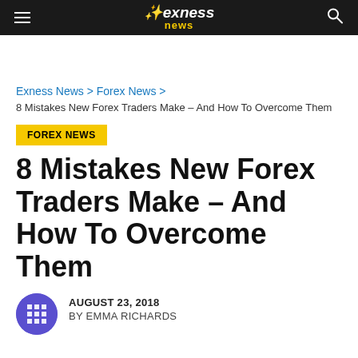Exness news
Exness News > Forex News >
8 Mistakes New Forex Traders Make – And How To Overcome Them
FOREX NEWS
8 Mistakes New Forex Traders Make – And How To Overcome Them
AUGUST 23, 2018
BY EMMA RICHARDS